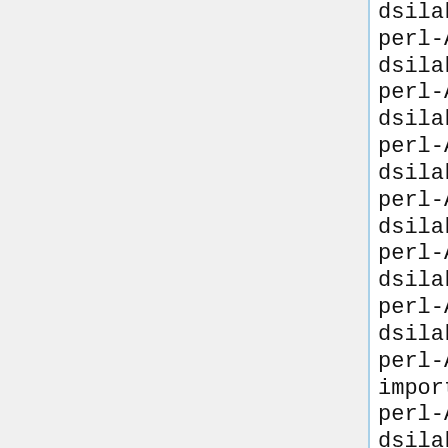dsilakov
perl-Algorithm-C3 import dsilakov
perl-Algorithm-Diff import dsilakov
perl-Alien-SDL import dsilakov
perl-Apache-Test import dsilakov
perl-AppConfig import dsilakov
perl-Archive-Cpio import dsilakov
perl-Archive-Extract import dsilakov
perl-Archive-Tar import dsilakov
perl-Archive-Zip import dsilakov
perl-Array-Compare import dsilakov
perl-Array-RefElem import dsilakov
perl-Astro-FITS-Header import dsilakov